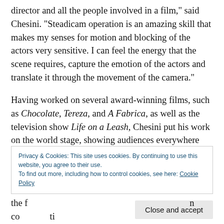director and all the people involved in a film," said Chesini. "Steadicam operation is an amazing skill that makes my senses for motion and blocking of the actors very sensitive. I can feel the energy that the scene requires, capture the emotion of the actors and translate it through the movement of the camera."
Having worked on several award-winning films, such as Chocolate, Tereza, and A Fabrica, as well as the television show Life on a Leash, Chesini put his work on the world stage, showing audiences everywhere what he is capable of. However, this versatile cinematographer has had limitless
Privacy & Cookies: This site uses cookies. By continuing to use this website, you agree to their use. To find out more, including how to control cookies, see here: Cookie Policy
Close and accept